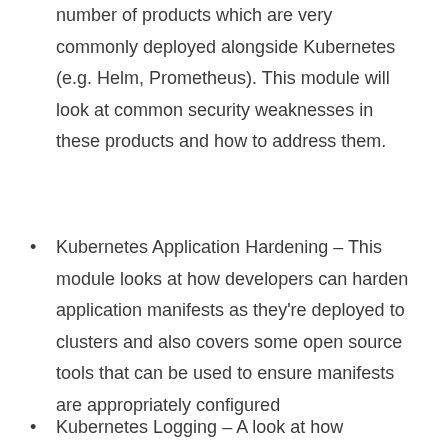number of products which are very commonly deployed alongside Kubernetes (e.g. Helm, Prometheus). This module will look at common security weaknesses in these products and how to address them.
Kubernetes Application Hardening – This module looks at how developers can harden application manifests as they're deployed to clusters and also covers some open source tools that can be used to ensure manifests are appropriately configured
Kubernetes Logging – A look at how